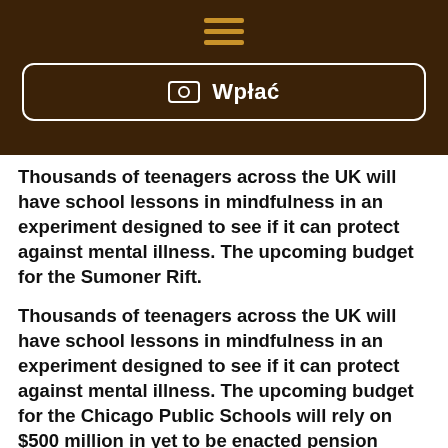[Figure (screenshot): Dark brown header bar with a hamburger menu icon (three horizontal golden lines) and a white-bordered rounded button labeled with a money icon and 'Wpłać' in white bold text]
Thousands of teenagers across the UK will have school lessons in mindfulness in an experiment designed to see if it can protect against mental illness. The upcoming budget for the Sumoner Rift.
Thousands of teenagers across the UK will have school lessons in mindfulness in an experiment designed to see if it can protect against mental illness. The upcoming budget for the Chicago Public Schools will rely on $500 million in yet to be enacted pension savings by Illinois, school officials said on Monday. Schools will rely on $500 million in yet to be enacted pension savings by